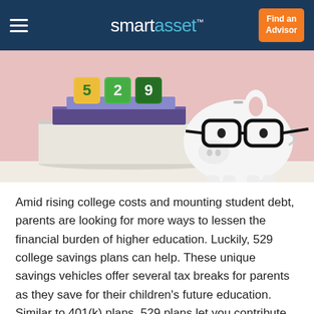smartasset™  Find an Advisor
[Figure (photo): Photo of stacked books with colorful 529 letter blocks on top, and a white ceramic piggy bank wearing black-rimmed glasses, set against a pink background.]
Amid rising college costs and mounting student debt, parents are looking for more ways to lessen the financial burden of higher education. Luckily, 529 college savings plans can help. These unique savings vehicles offer several tax breaks for parents as they save for their children's future education. Similar to 401(k) plans, 529 plans let you contribute toward investment portfolios with underlying mutual funds that leading investment firms manage. A financial advisor could also help you create a financial plan